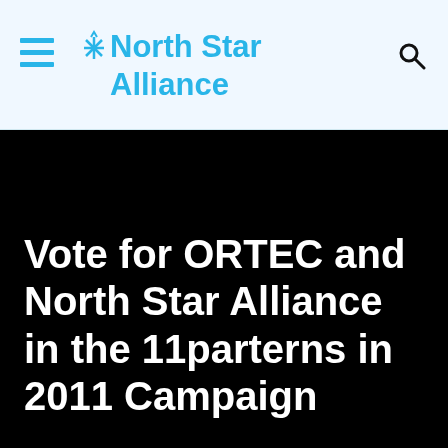[Figure (logo): North Star Alliance logo with hamburger menu icon on the left and search icon on the right, on a light blue-white header background]
Vote for ORTEC and North Star Alliance in the 11parterns in 2011 Campaign